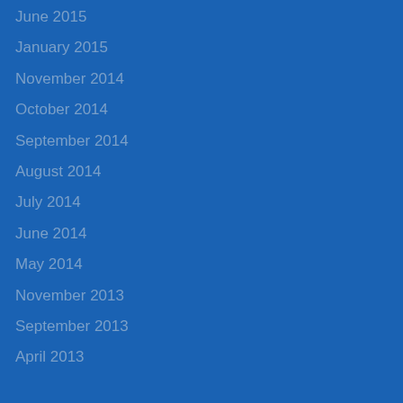June 2015
January 2015
November 2014
October 2014
September 2014
August 2014
July 2014
June 2014
May 2014
November 2013
September 2013
April 2013